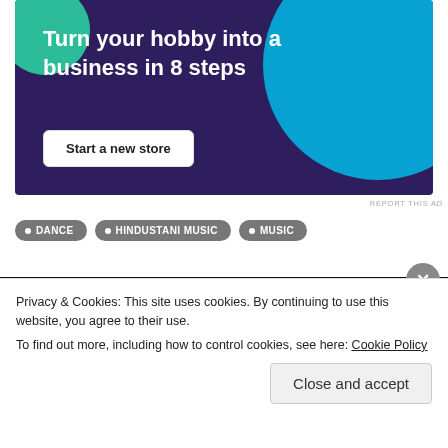[Figure (infographic): Dark purple advertisement banner reading 'Turn your hobby into a business in 8 steps' with teal/cyan decorative circles and a 'Start a new store' button]
REPORT THIS AD
• DANCE
• HINDUSTANI MUSIC
• MUSIC
ABOUT
Privacy & Cookies: This site uses cookies. By continuing to use this website, you agree to their use.
To find out more, including how to control cookies, see here: Cookie Policy
Close and accept